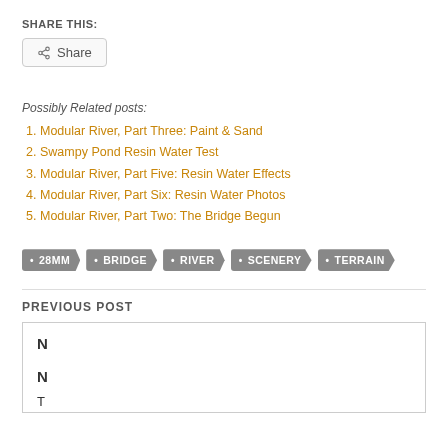SHARE THIS:
[Figure (other): Share button with share icon]
Possibly Related posts:
Modular River, Part Three: Paint & Sand
Swampy Pond Resin Water Test
Modular River, Part Five: Resin Water Effects
Modular River, Part Six: Resin Water Photos
Modular River, Part Two: The Bridge Begun
28MM  BRIDGE  RIVER  SCENERY  TERRAIN
PREVIOUS POST
Privacy & Cookies: This site uses cookies. By continuing to use this website, you agree to their use. To find out more, including how to control cookies, see here: Cookie Policy
Close and accept